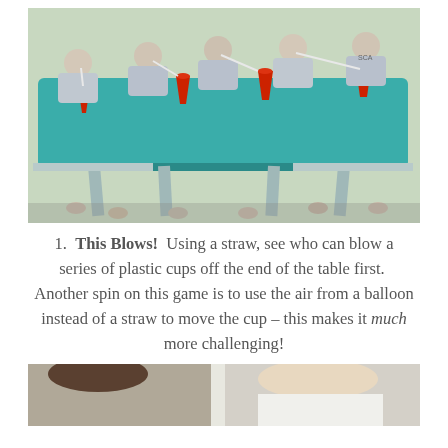[Figure (photo): Children sitting around a teal/green picnic table outdoors, each using a straw to blow red plastic cups off the table. Multiple red cups are visible on the table surface. Kids are wearing grey t-shirts.]
This Blows!  Using a straw, see who can blow a series of plastic cups off the end of the table first.  Another spin on this game is to use the air from a balloon instead of a straw to move the cup – this makes it much more challenging!
[Figure (photo): Partial photo at bottom of page showing people outdoors, cropped at bottom edge.]